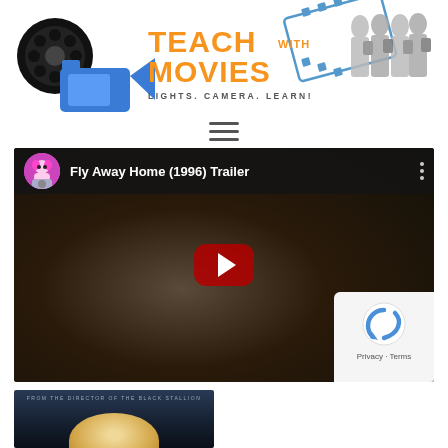[Figure (logo): Teach With Movies logo — film reel icon, camera icon, TEACH WITH MOVIES in orange bold text, LIGHTS. CAMERA. LEARN! tagline, with film strip and students silhouette illustration]
[Figure (screenshot): Hamburger menu icon — three horizontal lines]
[Figure (screenshot): YouTube video embed showing 'Fly Away Home (1996) Trailer' with a dark thumbnail of a close-up furry animal, red play button, anime-style avatar, and reCAPTCHA privacy badge in bottom right]
[Figure (screenshot): Bottom partial thumbnail showing a movie poster with text 'FROM THE DIRECTOR OF THE BLACK STALLION' and a partial circular shape]